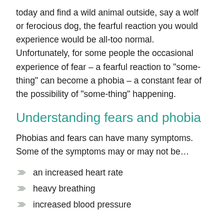today and find a wild animal outside, say a wolf or ferocious dog, the fearful reaction you would experience would be all-too normal. Unfortunately, for some people the occasional experience of fear – a fearful reaction to "something" can become a phobia – a constant fear of the possibility of "some-thing" happening.
Understanding fears and phobia
Phobias and fears can have many symptoms. Some of the symptoms may or may not be…
an increased heart rate
heavy breathing
increased blood pressure